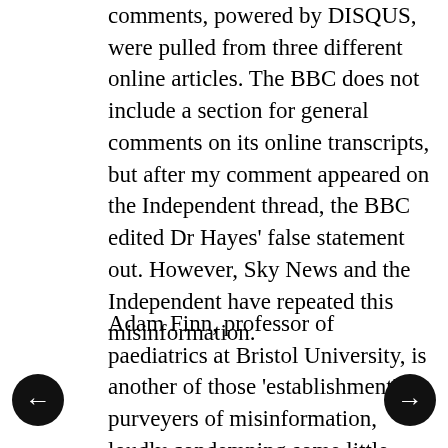comments, powered by DISQUS, were pulled from three different online articles. The BBC does not include a section for general comments on its online transcripts, but after my comment appeared on the Independent thread, the BBC edited Dr Hayes' false statement out. However, Sky News and the Independent have repeated this misinformation.
Adam Finn, professor of paediatrics at Bristol University, is another of those 'establishment' purveyers of misinformation, loudly condemning some little Welsh local newspaper for its reporting of the Lancet paper and parental MMR vaccine concerns 15 years ago. He described Dr Wakefield's recent statement as 'balderdash' and condemned the